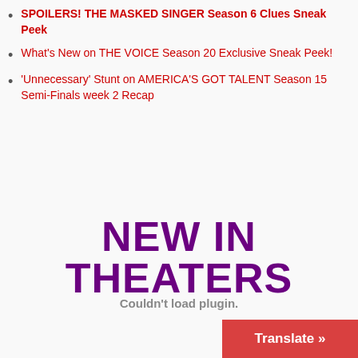SPOILERS! THE MASKED SINGER Season 6 Clues Sneak Peek
What's New on THE VOICE Season 20 Exclusive Sneak Peek!
'Unnecessary' Stunt on AMERICA'S GOT TALENT Season 15 Semi-Finals week 2 Recap
[Figure (other): Bold purple text reading NEW IN THEATERS]
Couldn't load plugin.
Translate »